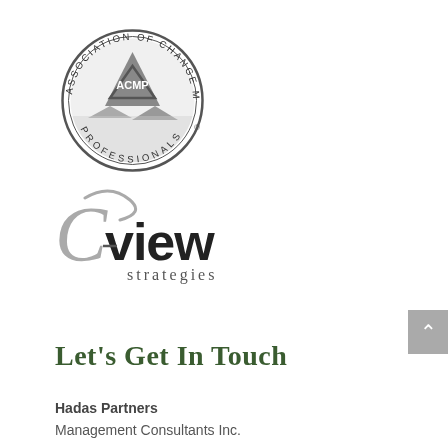[Figure (logo): ACMP Association of Change Management Professionals circular seal with mountain imagery and inverted triangle with ACMP text]
[Figure (logo): Cview Strategies logo with decorative cursive C and bold 'view' text with 'strategies' below]
Let's Get In Touch
Hadas Partners
Management Consultants Inc.